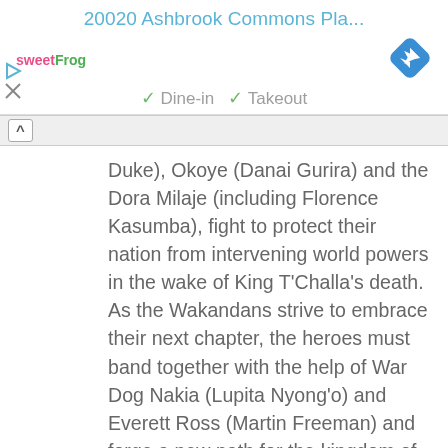20020 Ashbrook Commons Pla...
[Figure (logo): sweetFrog logo in pink and green text]
[Figure (other): Blue diamond navigation/direction arrow icon]
✓ Dine-in   ✓ Takeout
Duke), Okoye (Danai Gurira) and the Dora Milaje (including Florence Kasumba), fight to protect their nation from intervening world powers in the wake of King T'Challa's death. As the Wakandans strive to embrace their next chapter, the heroes must band together with the help of War Dog Nakia (Lupita Nyong'o) and Everett Ross (Martin Freeman) and forge a new path for the kingdom of Wakanda. Introducing Tenoch Huerta as Namor, king of a hidden undersea nation, the film also stars Dominique Thorne, Michaela Coel, Mabel Cadena and Alex Livanalli.